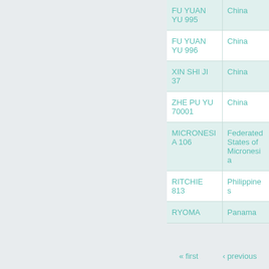| Vessel Name | Flag State |
| --- | --- |
| FU YUAN YU 995 | China |
| FU YUAN YU 996 | China |
| XIN SHI JI 37 | China |
| ZHE PU YU 70001 | China |
| MICRONESIA 106 | Federated States of Micronesia |
| RITCHIE 813 | Philippines |
| RYOMA | Panama |
« first  ‹ previous